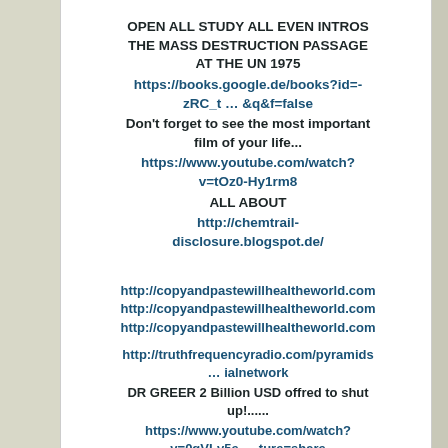OPEN ALL STUDY ALL EVEN INTROS THE MASS DESTRUCTION PASSAGE AT THE UN 1975
https://books.google.de/books?id=-zRC_t … &q&f=false
Don't forget to see the most important film of your life...
https://www.youtube.com/watch?v=tOz0-Hy1rm8
ALL ABOUT
http://chemtrail-disclosure.blogspot.de/
http://copyandpastewillhealtheworld.com
http://copyandpastewillhealtheworld.com
http://copyandpastewillhealtheworld.com
http://truthfrequencyradio.com/pyramids … ialnetwork
DR GREER 2 Billion USD offred to shut up!......
https://www.youtube.com/watch?v=0gVLv5e … ture=share
https://www.facebook.com/pages/Dr-Steve … k=timeline
http://www.bibliotecapleyades.net/vida_